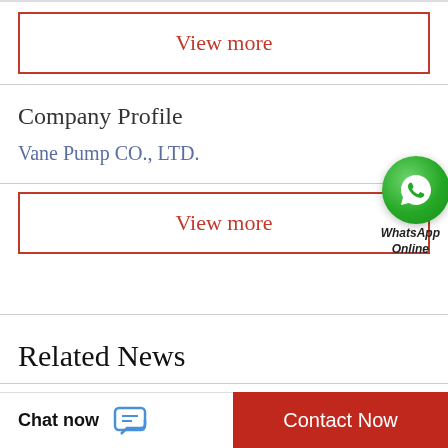View more
Company Profile
Vane Pump CO., LTD.
View more
[Figure (logo): WhatsApp green logo bubble with phone handset icon, labeled 'WhatsApp Online']
Related News
Are hydraulic motors reversible?
are hydraulic motors reversible - ModestoHydraulic
Chat now
Contact Now